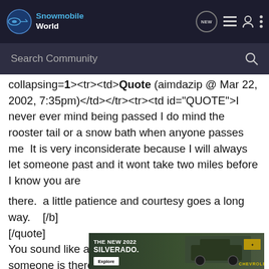Snowmobile World
collapsing=1><tr><td>QUOTE (aimdazip @ Mar 22, 2002, 7:35pm)</td></tr><tr><td id="QUOTE">I never ever mind being passed I do mind the rooster tail or a snow bath when anyone passes me  It is very inconsiderate because I will always let someone past and it wont take two miles before I know you are

there.  a little patience and courtesy goes a long way.    [/b]
[/quote]
You sound like a considerate rider.If you know someone is there within 2 miles thats great and  I try to be considerate passing and not shoot snow at people who let me by.[/b][/quote]

 Thanks for the compliment  I learned very early that driving and not watching behind you was a bad thing when I looked in the rearview … e while
[Figure (screenshot): Advertisement banner for The New 2022 Silverado by Chevrolet, with an Explore button, showing a truck in a forest background.]